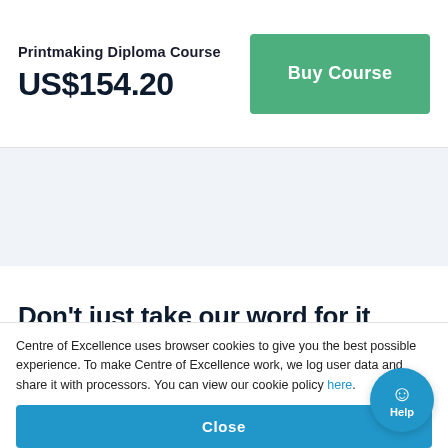Printmaking Diploma Course
US$154.20
Buy Course
Don't just take our word for it
Kim Milich
Centre of Excellence uses browser cookies to give you the best possible experience. To make Centre of Excellence work, we log user data and share it with processors. You can view our cookie policy here.
Close